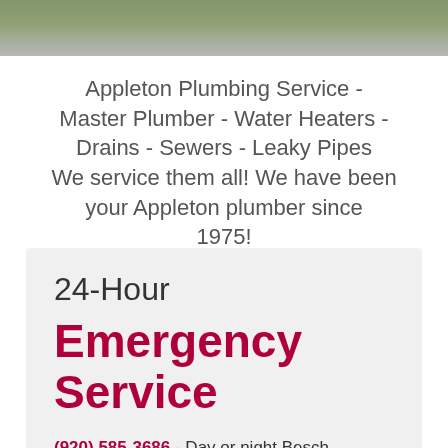[Figure (photo): Photo strip showing outdoor greenery/garden scene at top of page]
Appleton Plumbing Service - Master Plumber - Water Heaters - Drains - Sewers - Leaky Pipes We service them all! We have been your Appleton plumber since 1975!
24-Hour
Emergency Service
(920) 585-3686 - Day or night Besch Plumbing is available to fix your plumbing issues. We provide fast